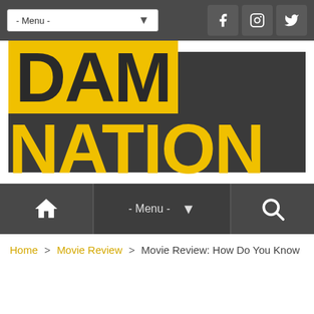- Menu - (navigation bar with social icons: Facebook, Instagram, Twitter)
[Figure (logo): DamNation website logo: large yellow text on dark gray background. 'DAM' in yellow highlighted box, 'NATION' in yellow text.]
Home icon | - Menu - (dropdown) | Search icon (secondary navigation bar)
Home > Movie Review > Movie Review: How Do You Know